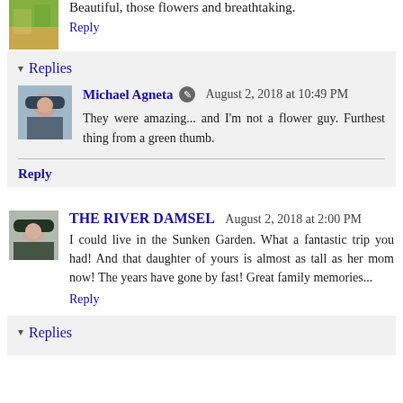[Figure (photo): Small avatar image, partial view of a nature/fish photo]
Beautiful, those flowers and breathtaking.
Reply
▾ Replies
[Figure (photo): Avatar photo of Michael Agneta, a man wearing a cap]
Michael Agneta ✎ August 2, 2018 at 10:49 PM
They were amazing... and I'm not a flower guy. Furthest thing from a green thumb.
Reply
[Figure (photo): Avatar photo of The River Damsel, a person wearing a hat]
THE RIVER DAMSEL  August 2, 2018 at 2:00 PM
I could live in the Sunken Garden. What a fantastic trip you had! And that daughter of yours is almost as tall as her mom now! The years have gone by fast! Great family memories...
Reply
▾ Replies